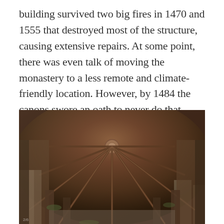building survived two big fires in 1470 and 1555 that destroyed most of the structure, causing extensive repairs. At some point, there was even talk of moving the monastery to a less remote and climate-friendly location. However, by 1484 the canons swore an oath to never do that.
[Figure (photo): Interior photograph looking upward at the vaulted ceiling of a ruined Gothic monastery or cathedral. The ribbed stone vaulting radiates from a central boss in a fan pattern. The walls show weathered reddish-brown stone with tall arched windows letting in light. Moss and vegetation are visible on the deteriorating stonework.]